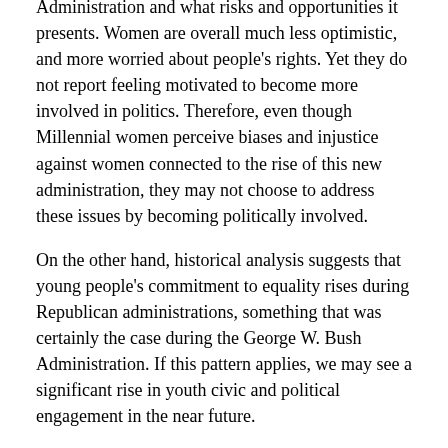Administration and what risks and opportunities it presents. Women are overall much less optimistic, and more worried about people's rights. Yet they do not report feeling motivated to become more involved in politics. Therefore, even though Millennial women perceive biases and injustice against women connected to the rise of this new administration, they may not choose to address these issues by becoming politically involved.
On the other hand, historical analysis suggests that young people's commitment to equality rises during Republican administrations, something that was certainly the case during the George W. Bush Administration. If this pattern applies, we may see a significant rise in youth civic and political engagement in the near future.
Youth Vote 2008-2016:  Men and Women, Once United, Now Divided. In 2016, Hillary Clinton won 55 percent of voters under age 30, a higher percentage than any other age group. Despite the decisive youth support for Mrs. Clinton,